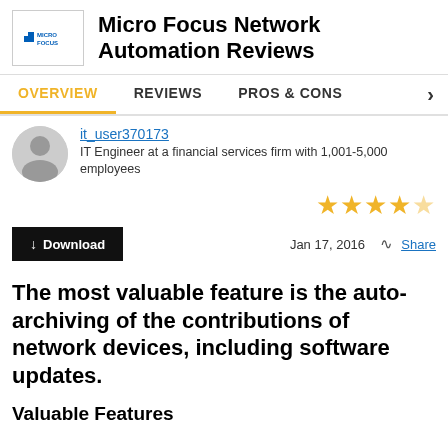Micro Focus Network Automation Reviews
OVERVIEW | REVIEWS | PROS & CONS
it_user370173
IT Engineer at a financial services firm with 1,001-5,000 employees
[Figure (other): 4.5 out of 5 stars rating]
Jan 17, 2016  Share
The most valuable feature is the auto-archiving of the contributions of network devices, including software updates.
Valuable Features